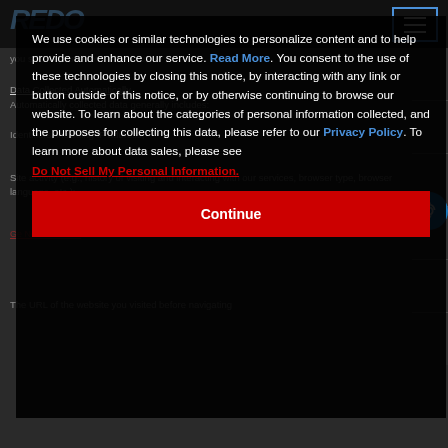[Figure (screenshot): Cookie consent modal overlay on a dark-themed website. The modal contains cookie policy text with 'Read More' link in blue, 'Privacy Policy' link in blue, 'Do Not Sell My Personal Information' link in red underline, and a red 'Continue' button. Behind the modal is a partially visible privacy policy page with header bar, logo, hamburger menu, and accessibility icon.]
We use cookies or similar technologies to personalize content and to help provide and enhance our service. Read More. You consent to the use of these technologies by closing this notice, by interacting with any link or button outside of this notice, or by otherwise continuing to browse our website. To learn about the categories of personal information collected, and the purposes for collecting this data, please refer to our Privacy Policy. To learn more about data sales, please see Do Not Sell My Personal Information.